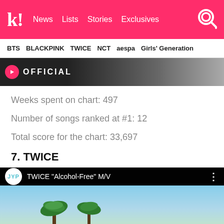k! News Lists Stories Exclusives
BTS BLACKPINK TWICE NCT aespa Girls' Generation
[Figure (screenshot): YouTube video thumbnail with OFFICIAL text on black background]
Weeks spent on chart: 497
Number of songs ranked at #1: 12
Total score for the chart: 33,697
7. TWICE
[Figure (screenshot): YouTube video embed showing TWICE 'Alcohol-Free' M/V with JYP logo, palm trees in background]